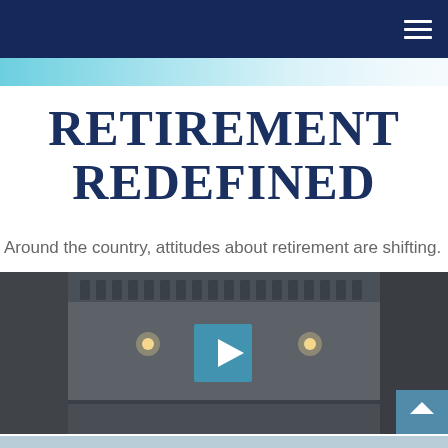RETIREMENT REDEFINED
Around the country, attitudes about retirement are shifting.
[Figure (screenshot): Video thumbnail showing an interior of a building with arched architecture, dim lighting with wall sconces, and a semi-transparent blue play button overlay in the center. A teal scroll-up button appears at the lower right corner.]